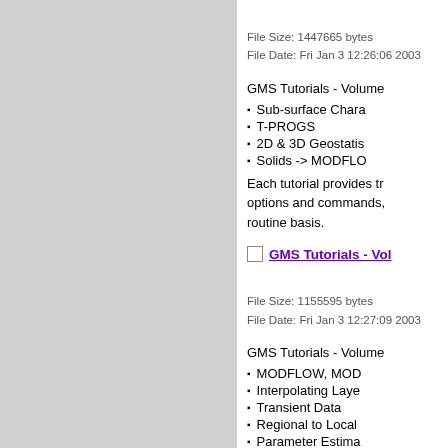File Size: 1447665 bytes
File Date: Fri Jan 3 12:26:06 2003
GMS Tutorials - Volume
Sub-surface Chara
T-PROGS
2D & 3D Geostatis
Solids -> MODFLO
Each tutorial provides tr options and commands, routine basis.
GMS Tutorials - Vol
File Size: 1155595 bytes
File Date: Fri Jan 3 12:27:09 2003
GMS Tutorials - Volume
MODFLOW, MOD
Interpolating Laye
Transient Data
Regional to Local
Parameter Estima